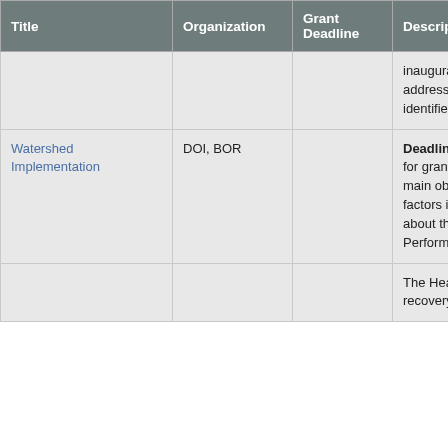| Title | Organization | Grant Deadline | Description |
| --- | --- | --- | --- |
|  |  |  | inaugural grant cycle, the C change and climate-related addressing or adapting to c knowledge into an innovati identified challenges. http:/ |
| Watershed Implementation | DOI, BOR |  | Deadline Passed as of 3/1 18-F004. The Bureau of Re for grants/cooperative agre Improvement Act (CVPIA), main objectives of the CVP contributing to recovery of a factors inhibiting recovery c opportunities through the C about the Trinity River Rest Successful applicants will e Performance will not excee |
|  |  |  | The Healthy Forests Reser forestland resources on pri recovery of endangered an and animal biodiversity an |